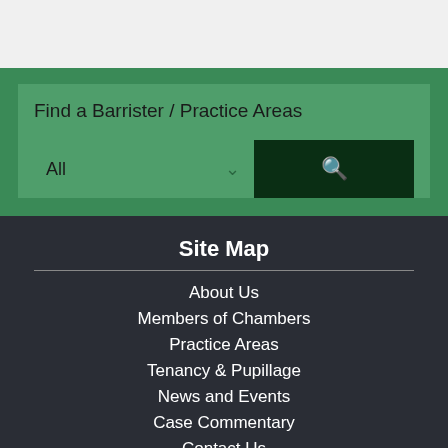Find a Barrister / Practice Areas
All
Site Map
About Us
Members of Chambers
Practice Areas
Tenancy & Pupillage
News and Events
Case Commentary
Contact Us